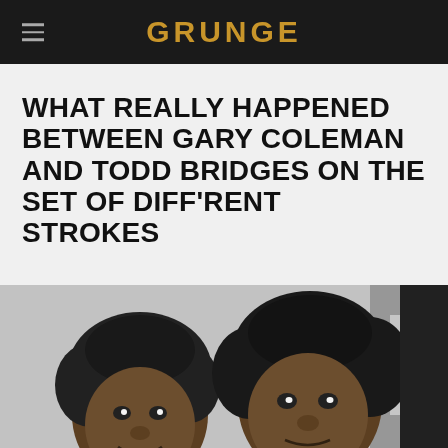GRUNGE
WHAT REALLY HAPPENED BETWEEN GARY COLEMAN AND TODD BRIDGES ON THE SET OF DIFF'RENT STROKES
[Figure (photo): Black and white photograph of two young boys, identified as Gary Coleman and Todd Bridges, smiling closely together]